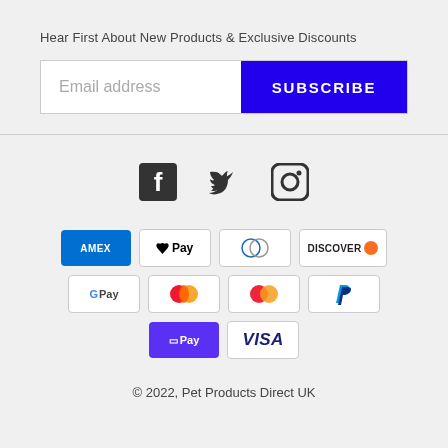Hear First About New Products & Exclusive Discounts
[Figure (screenshot): Email subscription form with email address input field and blue SUBSCRIBE button]
[Figure (infographic): Social media icons: Facebook, Twitter, Instagram]
[Figure (infographic): Payment method icons: American Express, Apple Pay, Diners Club, Discover, Google Pay, Mastercard (two variants), PayPal, Shop Pay, Visa]
© 2022, Pet Products Direct UK